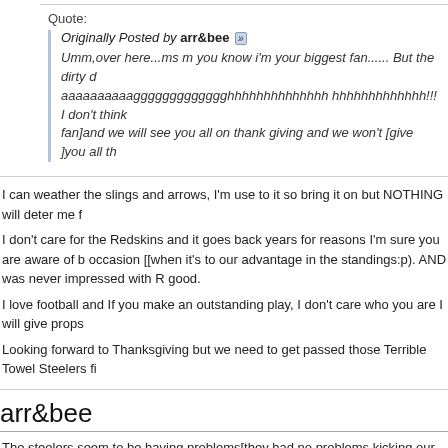Quote:
Originally Posted by arr&bee
Umm,over here...ms m you know i'm your biggest fan...... But the dirty d aaaaaaaaaaggggggggggggghhhhhhhhhhhhhh hhhhhhhhhhhhh!!! I don't think fan]and we will see you all on thank giving and we won't [give ]you all th
I can weather the slings and arrows, I'm use to it so bring it on but NOTHING will deter me f
I don't care for the Redskins and it goes back years for reasons I'm sure you are aware of b occasion [[when it's to our advantage in the standings:p). AND was never impressed with R good.
I love football and If you make an outstanding play, I don't care who you are I will give props
Looking forward to Thanksgiving but we need to get passed those Terrible Towel Steelers fi
arr&bee
The steelers seem to be having problems[they had no problems kicking our butts though]bu
ms_m
Quote:
Originally Posted by arr&bee